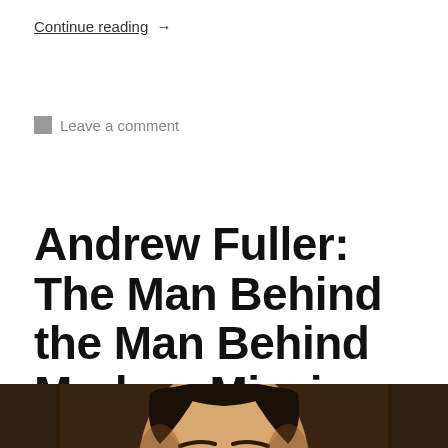Continue reading  →
Leave a comment
Andrew Fuller: The Man Behind the Man Behind Modern Missions – With Travis Myers
[Figure (photo): Close-up portrait painting of a man with dark hair against a dark brown background, showing his face and upper forehead.]